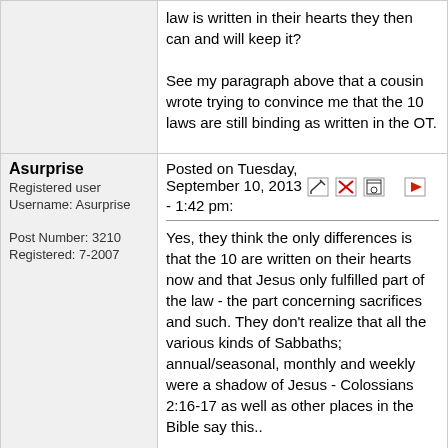law is written in their hearts they then can and will keep it?

See my paragraph above that a cousin wrote trying to convince me that the 10 laws are still binding as written in the OT.
Asurprise
Registered user
Username: Asurprise
Post Number: 3210
Registered: 7-2007
Posted on Tuesday, September 10, 2013 - 1:42 pm:

Yes, they think the only differences is that the 10 are written on their hearts now and that Jesus only fulfilled part of the law - the part concerning sacrifices and such. They don't realize that all the various kinds of Sabbaths; annual/seasonal, monthly and weekly were a shadow of Jesus - Colossians 2:16-17 as well as other places in the Bible say this..
Flyinglady
Registered user
Username: Flyinglady
Post Number: 10069
Registered: 3-2004
Posted on Tuesday, September 10, 2013 - 9:11 pm:

I learned nothing, nada, about the New Covenant as a student in SDA schools. It has only been since I